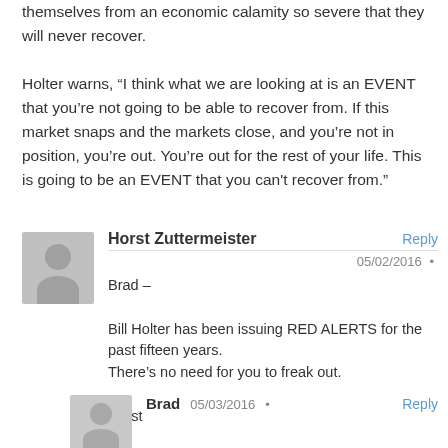themselves from an economic calamity so severe that they will never recover.

Holter warns, “I think what we are looking at is an EVENT that you’re not going to be able to recover from. If this market snaps and the markets close, and you’re not in position, you’re out. You’re out for the rest of your life. This is going to be an EVENT that you can’t recover from.”
Horst Zuttermeister
Reply
05/02/2016
Brad –
Bill Holter has been issuing RED ALERTS for the past fifteen years.
There’s no need for you to freak out.

Horst
Brad
05/03/2016
Reply